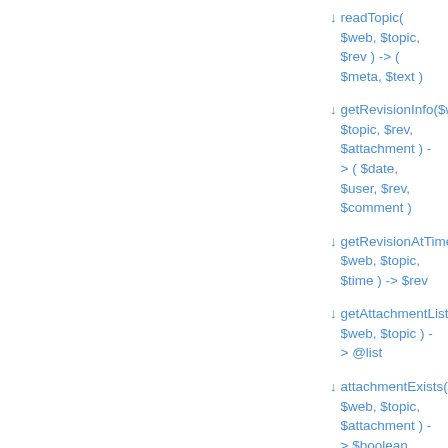↓ readTopic( $web, $topic, $rev ) -> ( $meta, $text )
↓ getRevisionInfo($web, $topic, $rev, $attachment ) -> ( $date, $user, $rev, $comment )
↓ getRevisionAtTime( $web, $topic, $time ) -> $rev
↓ getAttachmentList( $web, $topic ) -> @list
↓ attachmentExists( $web, $topic, $attachment ) -> $boolean